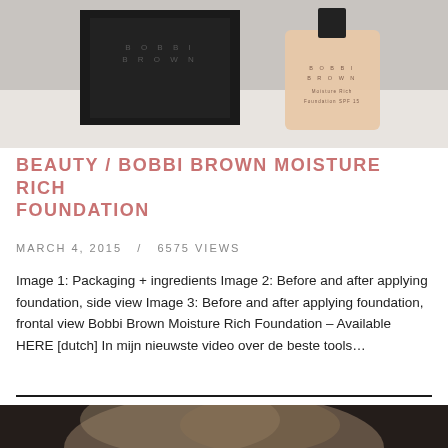[Figure (photo): Bobbi Brown Moisture Rich Foundation product photo showing black box packaging and glass bottle with pink/beige foundation on white surface]
BEAUTY / BOBBI BROWN MOISTURE RICH FOUNDATION
MARCH 4, 2015   /   6575 VIEWS
Image 1: Packaging + ingredients Image 2: Before and after applying foundation, side view Image 3: Before and after applying foundation, frontal view Bobbi Brown Moisture Rich Foundation – Available HERE [dutch] In mijn nieuwste video over de beste tools…
[Figure (photo): Close-up photo of a woman with blonde hair, partially visible at the bottom of the page]